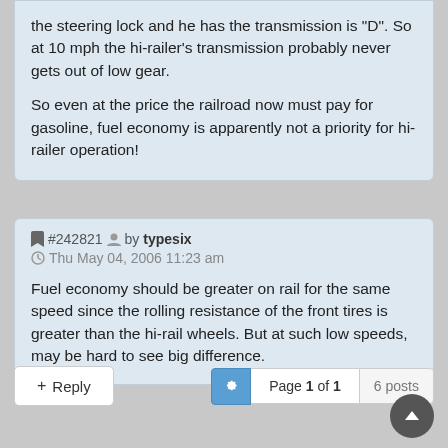the steering lock and he has the transmission is "D". So at 10 mph the hi-railer's transmission probably never gets out of low gear.
So even at the price the railroad now must pay for gasoline, fuel economy is apparently not a priority for hi-railer operation!
#242821  by typesix
Thu May 04, 2006 11:23 am
Fuel economy should be greater on rail for the same speed since the rolling resistance of the front tires is greater than the hi-rail wheels. But at such low speeds, may be hard to see big difference.
+ Reply   Page 1 of 1   6 posts